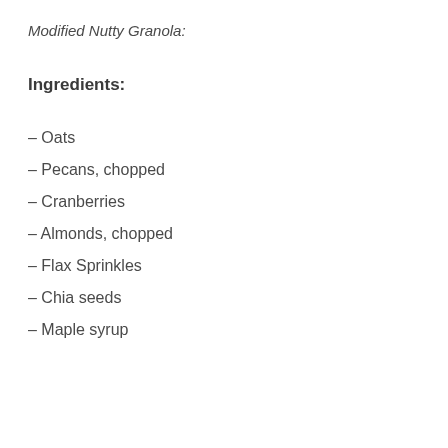Modified Nutty Granola:
Ingredients:
– Oats
– Pecans, chopped
– Cranberries
– Almonds, chopped
– Flax Sprinkles
– Chia seeds
– Maple syrup